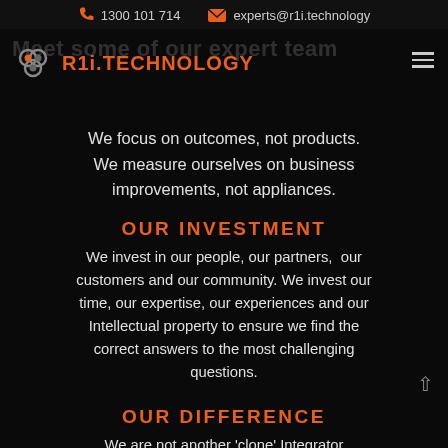1300 101 714   experts@r1i.technology
[Figure (logo): R1i.TECHNOLOGY logo with orange hexagonal icon and orange text]
We focus on outcomes, not products. We measure ourselves on business improvements, not appliances.
OUR INVESTMENT
We invest in our people, our partners, our customers and our community. We invest our time, our expertise, our experiences and our Intellectual property to ensure we find the correct answers to the most challenging questions.
OUR DIFFERENCE
We are not another 'clone' Integrator